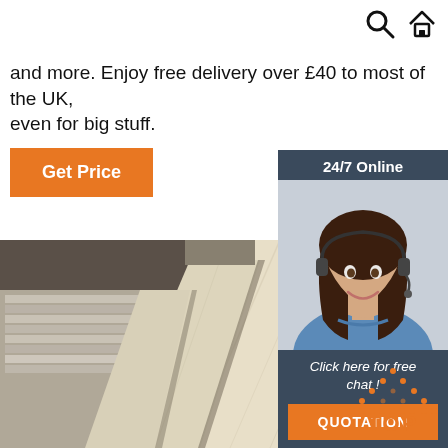Search | Home icons
and more. Enjoy free delivery over £40 to most of the UK, even for big stuff.
Get Price
[Figure (photo): Stacked pale wood planks/boards in a warehouse, viewed at an angle showing grain and texture]
[Figure (infographic): 24/7 Online chat widget showing a woman with a headset, text 'Click here for free chat!' and a QUOTATION button]
[Figure (logo): TOP badge with orange dotted triangle design and orange TOP text]